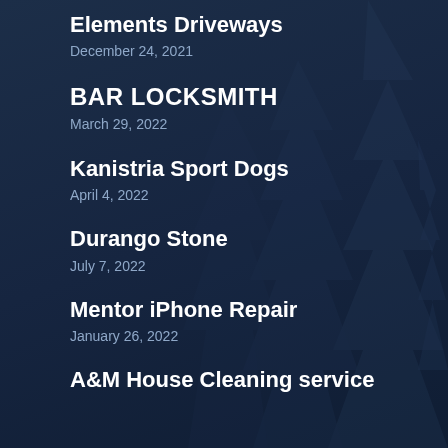Elements Driveways
December 24, 2021
BAR LOCKSMITH
March 29, 2022
Kanistria Sport Dogs
April 4, 2022
Durango Stone
July 7, 2022
Mentor iPhone Repair
January 26, 2022
A&M House Cleaning service